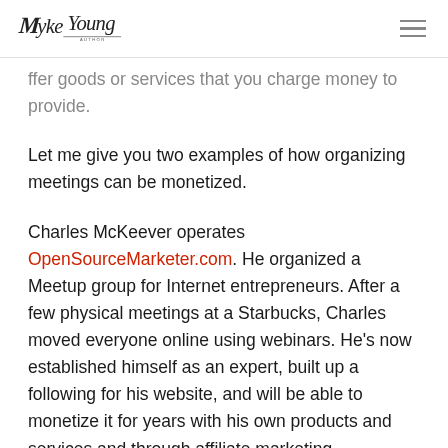MykeYoung [logo] [hamburger menu]
ffer goods or services that you charge money to provide.
Let me give you two examples of how organizing meetings can be monetized.
Charles McKeever operates OpenSourceMarketer.com. He organized a Meetup group for Internet entrepreneurs. After a few physical meetings at a Starbucks, Charles moved everyone online using webinars. He's now established himself as an expert, built up a following for his website, and will be able to monetize it for years with his own products and services and through affiliate marketing.